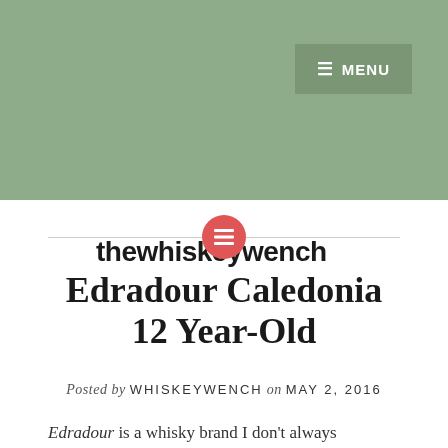thewhiskeywench
Edradour Caledonia 12 Year-Old
Posted by WHISKEYWENCH on MAY 2, 2016
Edradour is a whisky brand I don't always gravitate towards. While at the liquor store I stumbled across a